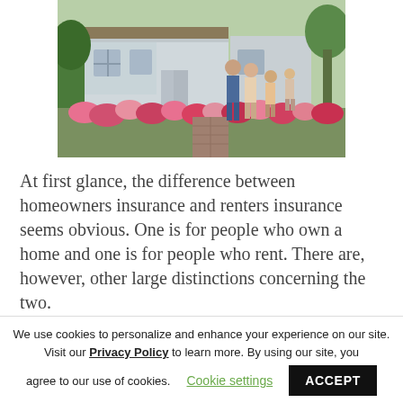[Figure (photo): A family standing in front of a house with a colorful flower garden along a brick pathway. The house has a porch and green trees in the background.]
At first glance, the difference between homeowners insurance and renters insurance seems obvious. One is for people who own a home and one is for people who rent. There are, however, other large distinctions concerning the two.
We use cookies to personalize and enhance your experience on our site. Visit our Privacy Policy to learn more. By using our site, you agree to our use of cookies. Cookie settings ACCEPT